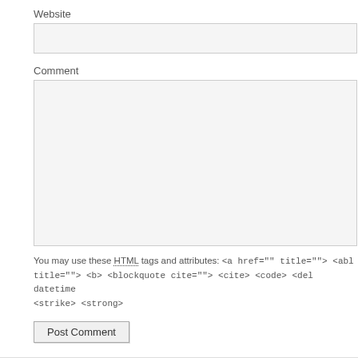Website
Comment
You may use these HTML tags and attributes: <a href="" title=""> <abbr title=""> <b> <blockquote cite=""> <cite> <code> <del datetime=""> <strike> <strong>
Post Comment